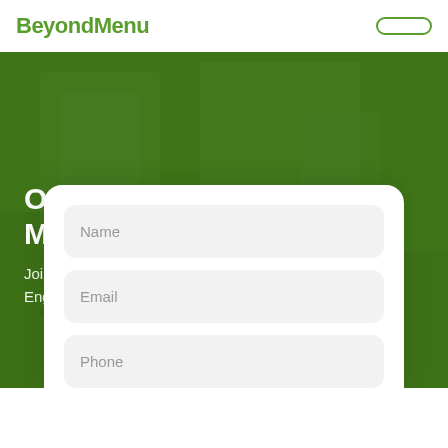BeyondMenu
Online Ordering for the Modern Restaurant
Join 15,000+ restaurants already on BeyondMenu. Engage with new diners and watch your revenue grow
Name
Email
Phone